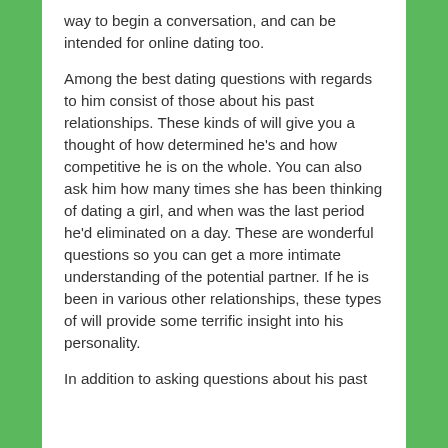way to begin a conversation, and can be intended for online dating too.
Among the best dating questions with regards to him consist of those about his past relationships. These kinds of will give you a thought of how determined he's and how competitive he is on the whole. You can also ask him how many times she has been thinking of dating a girl, and when was the last period he'd eliminated on a day. These are wonderful questions so you can get a more intimate understanding of the potential partner. If he is been in various other relationships, these types of will provide some terrific insight into his personality.
In addition to asking questions about his past...